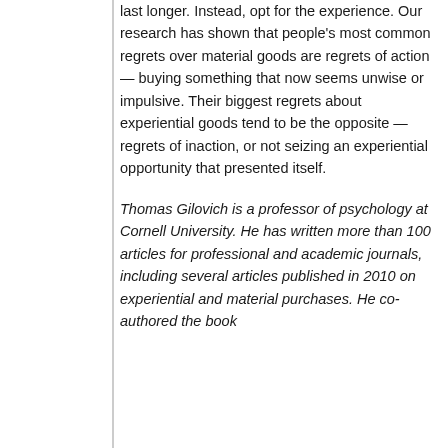last longer. Instead, opt for the experience. Our research has shown that people's most common regrets over material goods are regrets of action — buying something that now seems unwise or impulsive. Their biggest regrets about experiential goods tend to be the opposite — regrets of inaction, or not seizing an experiential opportunity that presented itself.
Thomas Gilovich is a professor of psychology at Cornell University. He has written more than 100 articles for professional and academic journals, including several articles published in 2010 on experiential and material purchases. He co-authored the book